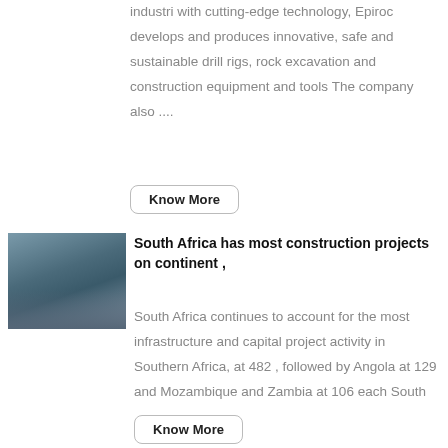industri with cutting-edge technology, Epiroc develops and produces innovative, safe and sustainable drill rigs, rock excavation and construction equipment and tools The company also ....
Know More
[Figure (photo): Construction site photograph showing concrete structures in South Africa]
South Africa has most construction projects on continent ,
South Africa continues to account for the most infrastructure and capital project activity in Southern Africa, at 482 , followed by Angola at 129 and Mozambique and Zambia at 106 each South ....
Know More